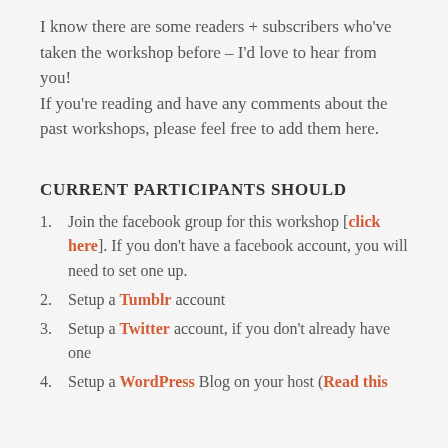I know there are some readers + subscribers who've taken the workshop before – I'd love to hear from you!
If you're reading and have any comments about the past workshops, please feel free to add them here.
CURRENT PARTICIPANTS SHOULD
Join the facebook group for this workshop [click here]. If you don't have a facebook account, you will need to set one up.
Setup a Tumblr account
Setup a Twitter account, if you don't already have one
Setup a WordPress Blog on your host (Read this